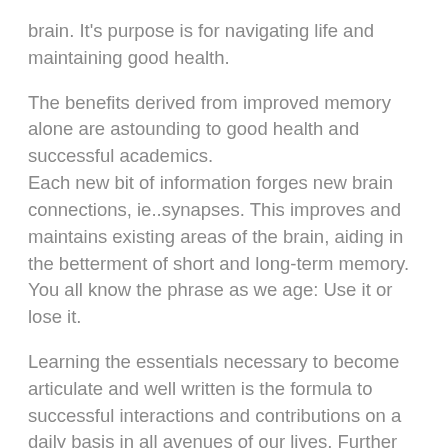brain. It's purpose is for navigating life and maintaining good health.
The benefits derived from improved memory alone are astounding to good health and successful academics. Each new bit of information forges new brain connections, ie..synapses. This improves and maintains existing areas of the brain, aiding in the betterment of short and long-term memory. You all know the phrase as we age: Use it or lose it.
Learning the essentials necessary to become articulate and well written is the formula to successful interactions and contributions on a daily basis in all avenues of our lives. Further developing those tools will enable a person to hold intelligent